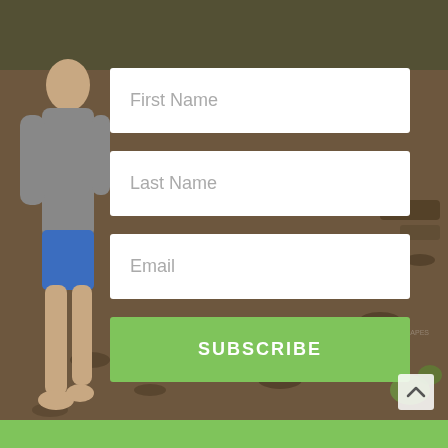[Figure (photo): Outdoor background photo showing a child in a grey shirt and blue shorts standing barefoot on wood chip ground, with garden area visible.]
First Name
Last Name
Email
SUBSCRIBE